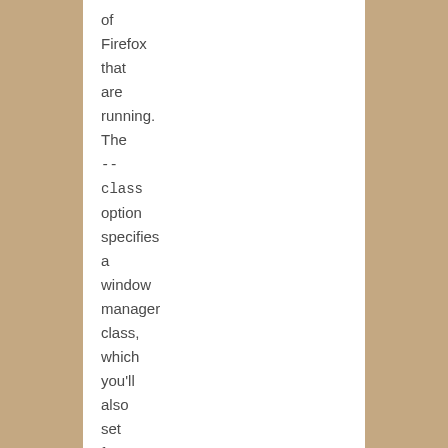of Firefox that are running. The --class option specifies a window manager class, which you'll also set for the StartupWMClass option.